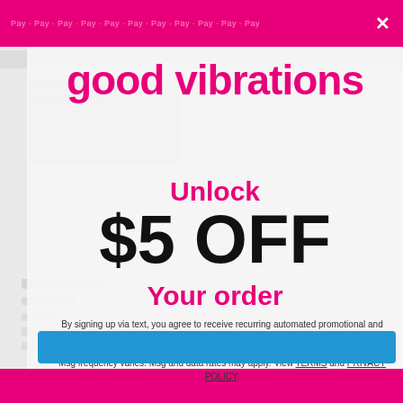[Figure (screenshot): Good Vibrations promotional popup overlay on website showing $5 OFF discount offer with pink branding, close button X in top right, and a blue CTA button at bottom]
good vibrations
Unlock
$5 OFF
Your order
By signing up via text, you agree to receive recurring automated promotional and personalized marketing text messages (e.g. cart reminders) at the cell number used when signing up. Consent is not a condition of any purchase. Reply STOP to cancel. Msg frequency varies. Msg and data rates may apply. View TERMS and PRIVACY POLICY.